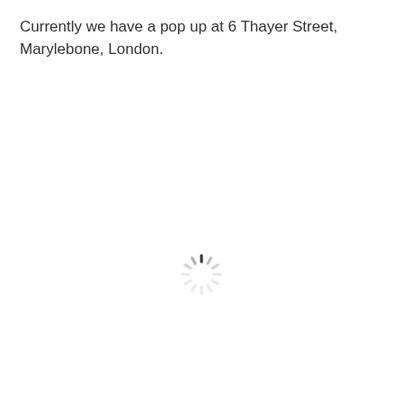Currently we have a pop up at 6 Thayer Street, Marylebone, London.
[Figure (other): Loading spinner / activity indicator — a circular arrangement of short line segments in gray, resembling a clock face, indicating content is loading.]